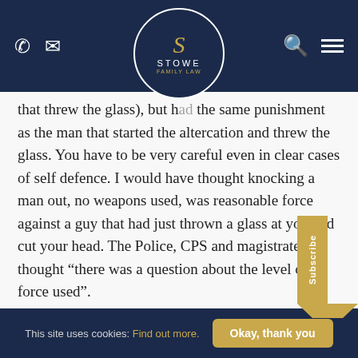[Figure (screenshot): Navigation bar with phone and email icons on left, Stowe Family Law circular logo in center, search and menu icons on right, dark navy background]
that threw the glass), but had the same punishment as the man that started the altercation and threw the glass. You have to be very careful even in clear cases of self defence. I would have thought knocking a man out, no weapons used, was reasonable force against a guy that had just thrown a glass at you and cut your head. The Police, CPS and magistrates thought “there was a question about the level of force used”.
Reply
Clare Wakeman
This site uses cookies: Find out more. Okay, thank you